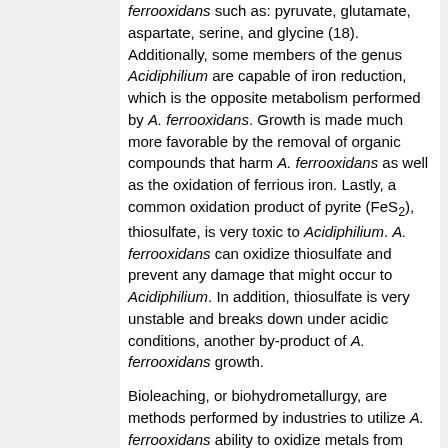ferrooxidans such as: pyruvate, glutamate, aspartate, serine, and glycine (18). Additionally, some members of the genus Acidiphilium are capable of iron reduction, which is the opposite metabolism performed by A. ferrooxidans. Growth is made much more favorable by the removal of organic compounds that harm A. ferrooxidans as well as the oxidation of ferrious iron. Lastly, a common oxidation product of pyrite (FeS2), thiosulfate, is very toxic to Acidiphilium. A. ferrooxidans can oxidize thiosulfate and prevent any damage that might occur to Acidiphilium. In addition, thiosulfate is very unstable and breaks down under acidic conditions, another by-product of A. ferrooxidans growth.
Bioleaching, or biohydrometallurgy, are methods performed by industries to utilize A. ferrooxidans ability to oxidize metals from ore. Essentially, A. ferrooxidans oxidation metabolism is beneficial since it can attack insoluble sulfide containing minerals (i.e. copper, lead, zinc and nickel) and covert them to soluble metal sulfates (19). Currently,